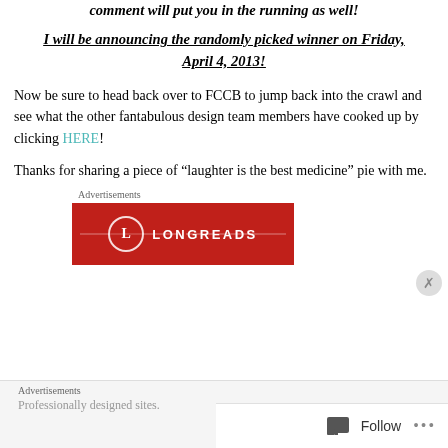comment will put you in the running as well!
I will be announcing the randomly picked winner on Friday, April 4, 2013!
Now be sure to head back over to FCCB to jump back into the crawl and see what the other fantabulous design team members have cooked up by clicking HERE!
Thanks for sharing a piece of “laughter is the best medicine” pie with me.
Advertisements
[Figure (logo): Longreads advertisement banner in red with white circle L logo and LONGREADS text]
Advertisements
Professionally designed sites.
Follow